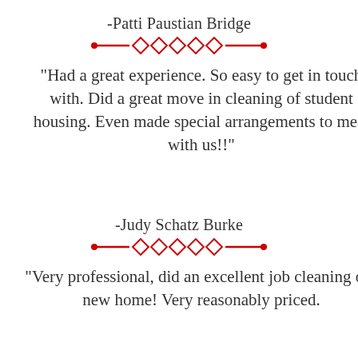-Patti Paustian Bridge
[Figure (illustration): Red decorative divider with diamonds and horizontal lines]
"Had a great experience. So easy to get in touch with. Did a great move in cleaning of student housing. Even made special arrangements to meet with us!!"
-Judy Schatz Burke
[Figure (illustration): Red decorative divider with diamonds and horizontal lines]
"Very professional, did an excellent job cleaning our new home! Very reasonably priced.